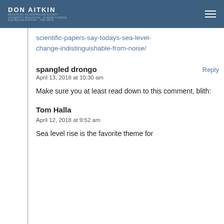DON AITKIN
scientific-papers-say-todays-sea-level-change-indistinguishable-from-noise/
spangled drongo
April 13, 2018 at 10:30 am
Make sure you at least read down to this comment, blith:
Tom Halla
April 12, 2018 at 9:52 am
Sea level rise is the favorite theme for